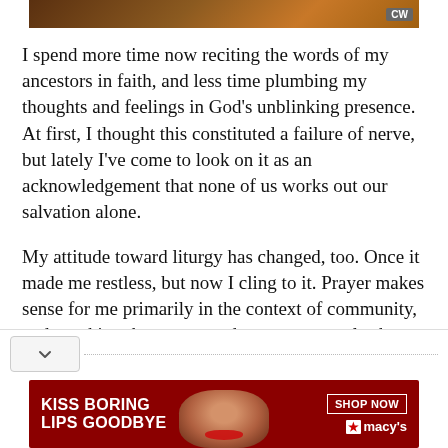[Figure (photo): Top banner with brown/orange background and CW logo in top right corner]
I spend more time now reciting the words of my ancestors in faith, and less time plumbing my thoughts and feelings in God's unblinking presence. At first, I thought this constituted a failure of nerve, but lately I've come to look on it as an acknowledgement that none of us works out our salvation alone.
My attitude toward liturgy has changed, too. Once it made me restless, but now I cling to it. Prayer makes sense for me primarily in the context of community, and speaking the same words as everyone else keeps my overweening self at bay.
[Figure (photo): Advertisement banner at bottom: red background with woman's face, text KISS BORING LIPS GOODBYE, SHOP NOW button, and Macy's logo with star]